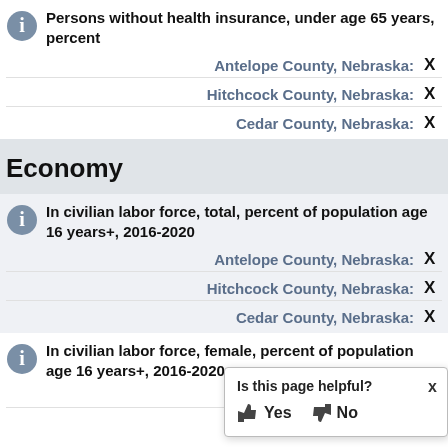Persons without health insurance, under age 65 years, percent
Antelope County, Nebraska: X
Hitchcock County, Nebraska: X
Cedar County, Nebraska: X
Economy
In civilian labor force, total, percent of population age 16 years+, 2016-2020
Antelope County, Nebraska: X
Hitchcock County, Nebraska: X
Cedar County, Nebraska: X
In civilian labor force, female, percent of population age 16 years+, 2016-2020
Antelope County, Nebraska: X
Hitchcock County, Nebraska: X
[Figure (infographic): Tooltip popup asking 'Is this page helpful?' with Yes and No buttons, and an X close button]